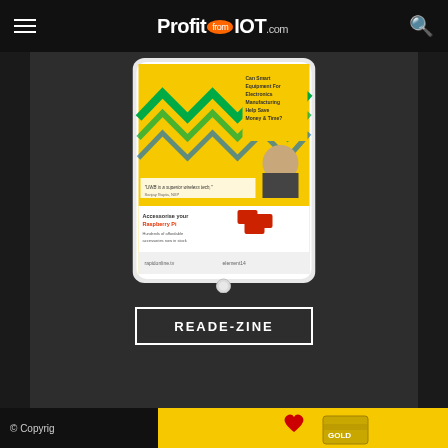ProfitfromIOT.com
[Figure (screenshot): Tablet/iPad device showing a magazine or e-zine content page with yellow background, green zigzag graphics, electronics manufacturing content, and Raspberry Pi accessories advertisement]
READ E-ZINE
© Copyrig...
[Figure (illustration): Yellow banner advertisement with red heart and gold card/book graphics at bottom of page]